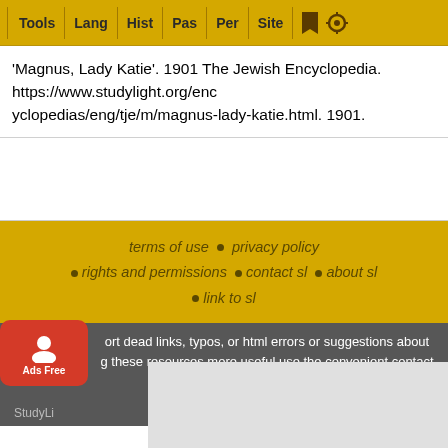Tools | Lang | Hist | Pas | Per | Site
'Magnus, Lady Katie'. 1901 The Jewish Encyclopedia. https://www.studylight.org/enc yclopedias/eng/tje/m/magnus-lady-katie.html. 1901.
terms of use • privacy policy • rights and permissions • contact sl • about sl • link to sl
To report dead links, typos, or html errors or suggestions about making these resources more useful use the convenient contact form
StudyLight ... hnology